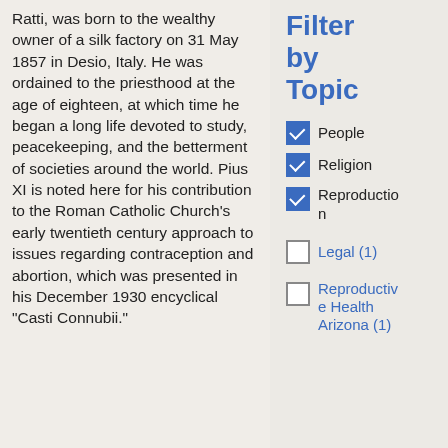Ratti, was born to the wealthy owner of a silk factory on 31 May 1857 in Desio, Italy. He was ordained to the priesthood at the age of eighteen, at which time he began a long life devoted to study, peacekeeping, and the betterment of societies around the world. Pius XI is noted here for his contribution to the Roman Catholic Church's early twentieth century approach to issues regarding contraception and abortion, which was presented in his December 1930 encyclical "Casti Connubii."
Filter by Topic
People (checked)
Religion (checked)
Reproduction (checked)
Legal (1) (unchecked)
Reproductive Health Arizona (1) (unchecked)